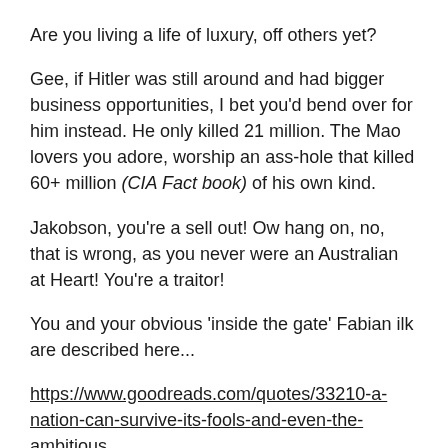Are you living a life of luxury, off others yet?
Gee, if Hitler was still around and had bigger business opportunities, I bet you'd bend over for him instead. He only killed 21 million. The Mao lovers you adore, worship an ass-hole that killed 60+ million (CIA Fact book) of his own kind.
Jakobson, you're a sell out! Ow hang on, no, that is wrong, as you never were an Australian at Heart! You're a traitor!
You and your obvious ‘inside the gate’ Fabian ilk are described here...
https://www.goodreads.com/quotes/33210-a-nation-can-survive-its-fools-and-even-the-ambitious
You don't support local manufacturing (national self